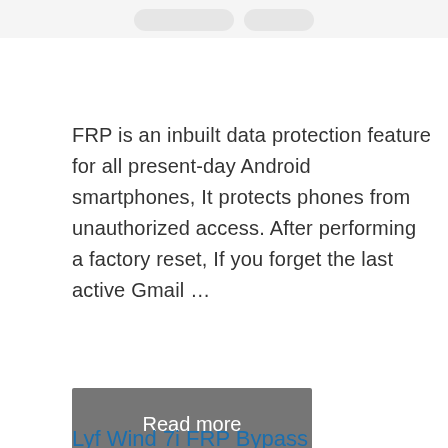[Figure (screenshot): Partial screenshot of device buttons/UI at the very top of the page, partially cropped.]
FRP is an inbuilt data protection feature for all present-day Android smartphones, It protects phones from unauthorized access. After performing a factory reset, If you forget the last active Gmail …
Read more
Lyf Wind 7i FRP Bypass